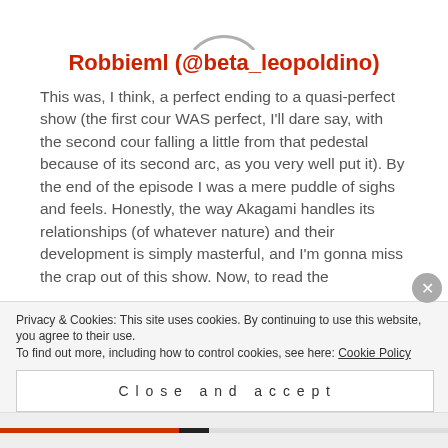[Figure (other): Partial circle arc at top center, navigation arrows on left and right sides]
Robbieml (@beta_leopoldino)
This was, I think, a perfect ending to a quasi-perfect show (the first cour WAS perfect, I’ll dare say, with the second cour falling a little from that pedestal because of its second arc, as you very well put it). By the end of the episode I was a mere puddle of sighs and feels. Honestly, the way Akagami handles its relationships (of whatever nature) and their development is simply masterful, and I’m gonna miss the crap out of this show. Now, to read the
Privacy & Cookies: This site uses cookies. By continuing to use this website, you agree to their use.
To find out more, including how to control cookies, see here: Cookie Policy
Close and accept